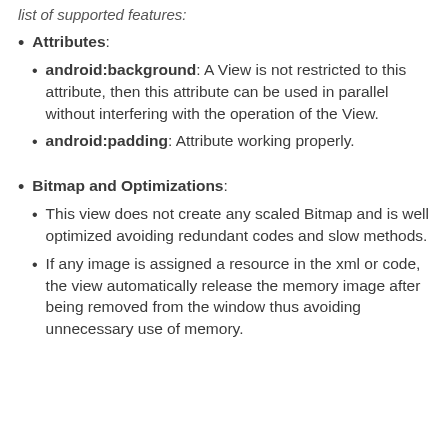list of supported features:
Attributes:
android:background: A View is not restricted to this attribute, then this attribute can be used in parallel without interfering with the operation of the View.
android:padding: Attribute working properly.
Bitmap and Optimizations:
This view does not create any scaled Bitmap and is well optimized avoiding redundant codes and slow methods.
If any image is assigned a resource in the xml or code, the view automatically release the memory image after being removed from the window thus avoiding unnecessary use of memory.